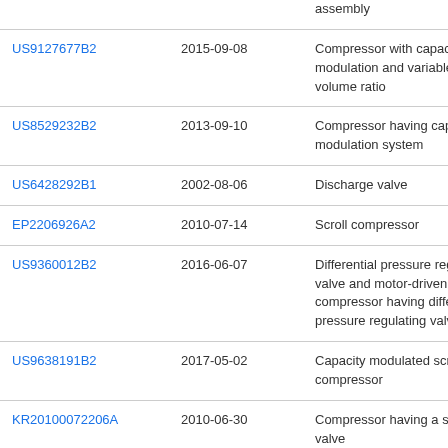| Patent | Date | Title |
| --- | --- | --- |
|  |  | assembly |
| US9127677B2 | 2015-09-08 | Compressor with capacity modulation and variable volume ratio |
| US8529232B2 | 2013-09-10 | Compressor having capacity modulation system |
| US6428292B1 | 2002-08-06 | Discharge valve |
| EP2206926A2 | 2010-07-14 | Scroll compressor |
| US9360012B2 | 2016-06-07 | Differential pressure regulating valve and motor-driven compressor having differential pressure regulating valve |
| US9638191B2 | 2017-05-02 | Capacity modulated scroll compressor |
| KR20100072206A | 2010-06-30 | Compressor having a shutdown valve |